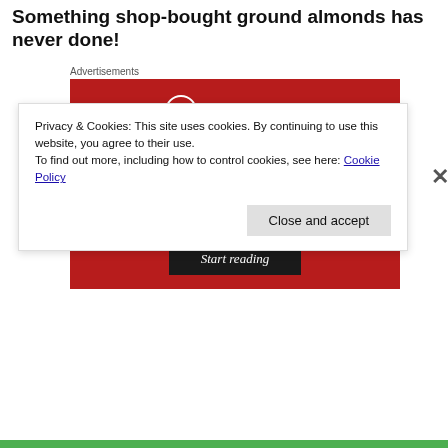Something shop-bought ground almonds has never done!
Advertisements
[Figure (other): Longreads advertisement banner on red background. Contains Longreads logo (circle with L), tagline 'The best stories on the web – ours, and everyone else's.' and a 'Start reading' button.]
Privacy & Cookies: This site uses cookies. By continuing to use this website, you agree to their use.
To find out more, including how to control cookies, see here: Cookie Policy
Close and accept